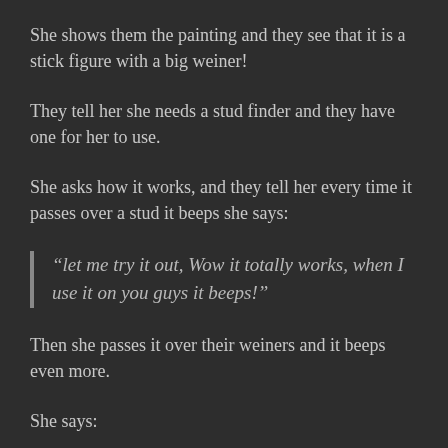She shows them the painting and they see that it is a stick figure with a big weiner!
They tell her she needs a stud finder and they have one for her to use.
She asks how it works, and they tell her every time it passes over a stud it beeps she says:
“let me try it out, Wow it totally works, when I use it on you guys it beeps!”
Then she passes it over their weiners and it beeps even more.
She says:
“You know I have a stud finder too and...